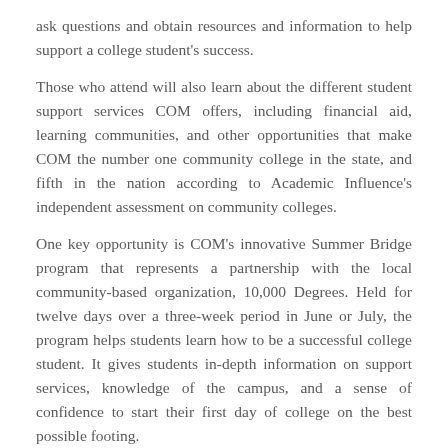ask questions and obtain resources and information to help support a college student's success.
Those who attend will also learn about the different student support services COM offers, including financial aid, learning communities, and other opportunities that make COM the number one community college in the state, and fifth in the nation according to Academic Influence's independent assessment on community colleges.
One key opportunity is COM's innovative Summer Bridge program that represents a partnership with the local community-based organization, 10,000 Degrees. Held for twelve days over a three-week period in June or July, the program helps students learn how to be a successful college student. It gives students in-depth information on support services, knowledge of the campus, and a sense of confidence to start their first day of college on the best possible footing.
Here's the itinerary of events planned for May 1 and a student's first step towards becoming a college student – College Success Saturday offers this and